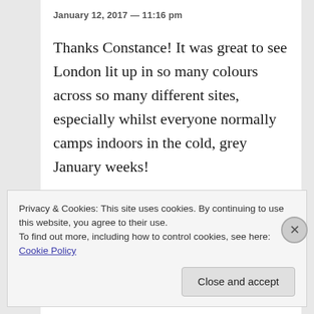January 12, 2017 — 11:16 pm
Thanks Constance! It was great to see London lit up in so many colours across so many different sites, especially whilst everyone normally camps indoors in the cold, grey January weeks!
REPLY
Privacy & Cookies: This site uses cookies. By continuing to use this website, you agree to their use.
To find out more, including how to control cookies, see here: Cookie Policy